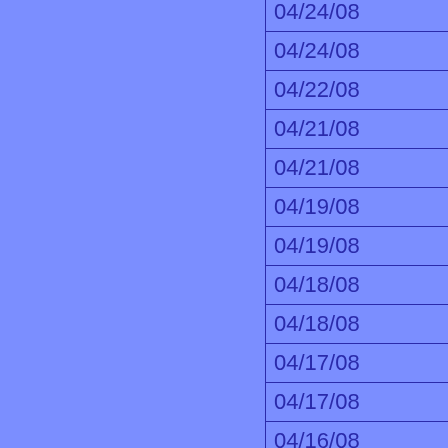| Date | Name |
| --- | --- |
| 04/24/08 | Bob |
| 04/24/08 | Fred |
| 04/22/08 | Bowen |
| 04/21/08 | Clay |
| 04/21/08 | nomad |
| 04/19/08 | Henry Lamb |
| 04/19/08 | James |
| 04/18/08 | Miranda Cosgrove |
| 04/18/08 | Bob |
| 04/17/08 | Gemma |
| 04/17/08 | greg |
| 04/16/08 | steve |
| 04/15/08 | Luke |
| 04/15/08 | Adam |
| 04/13/08 | joe |
| 04/13/08 | Wolfie |
| 04/12/08 | Tristin |
| 04/11/08 | James |
| 04/09/08 | Chris |